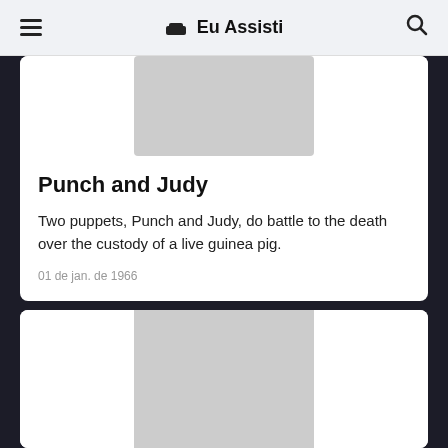☰ 🛋 Eu Assisti 🔍
[Figure (photo): Gray placeholder image for Punch and Judy card]
Punch and Judy
Two puppets, Punch and Judy, do battle to the death over the custody of a live guinea pig.
01 de jan. de 1966
[Figure (photo): Gray placeholder image for second card]